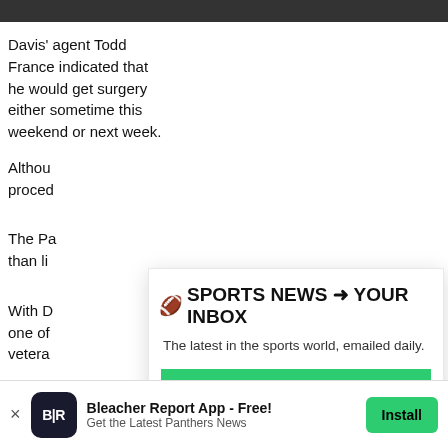Davis' agent Todd France indicated that he would get surgery either sometime this weekend or next week. Although... proceed...
The Pa... than li...
With D... one of... vetera...
The Pa... their d...
[Figure (screenshot): Newsletter signup modal overlay with title '🏈 SPORTS NEWS ➜ YOUR INBOX', subtitle 'The latest in the sports world, emailed daily.', a green 'Join Newsletter' button, and a 'Maybe Later' link]
Bleacher Report App - Free! Get the Latest Panthers News  Install